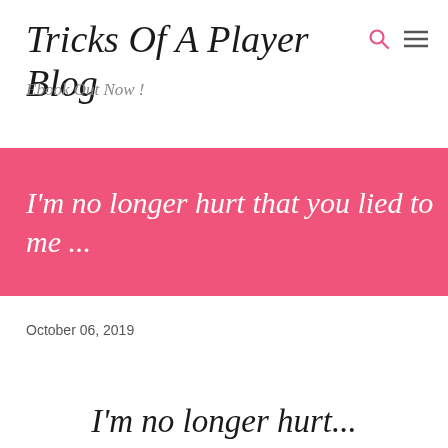Tricks Of A Player Blog
Ebook Out Now !
I'm no longer hurt that you lied to me ...
October 06, 2019
I'm no longer hurt...